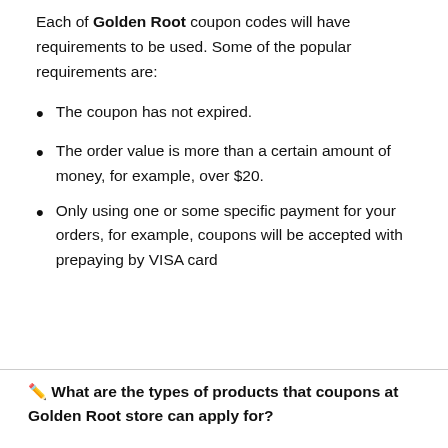Each of Golden Root coupon codes will have requirements to be used. Some of the popular requirements are:
The coupon has not expired.
The order value is more than a certain amount of money, for example, over $20.
Only using one or some specific payment for your orders, for example, coupons will be accepted with prepaying by VISA card
🔑 What are the types of products that coupons at Golden Root store can apply for?